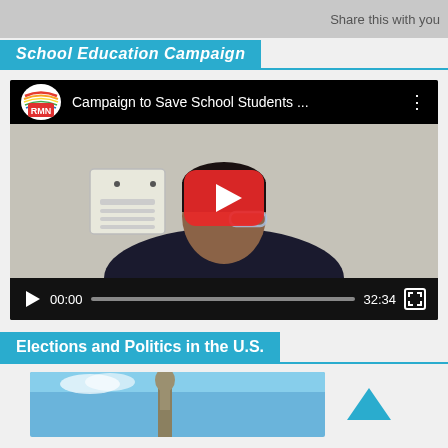Share this with you
School Education Campaign
[Figure (screenshot): Embedded YouTube video player showing 'Campaign to Save School Students ...' by RMN channel. Video thumbnail shows a man sitting in front of a white background. Video controls show 00:00 / 32:34.]
Elections and Politics in the U.S.
[Figure (photo): Partial photo of a statue against a blue sky, bottom portion visible.]